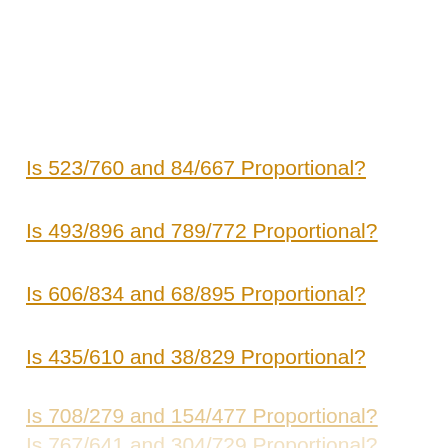Is 523/760 and 84/667 Proportional?
Is 493/896 and 789/772 Proportional?
Is 606/834 and 68/895 Proportional?
Is 435/610 and 38/829 Proportional?
Is 708/279 and 154/477 Proportional?
Is 767/641 and 304/729 Proportional?